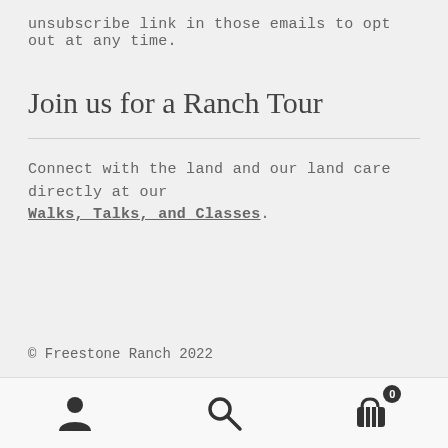unsubscribe link in those emails to opt out at any time.
Join us for a Ranch Tour
Connect with the land and our land care directly at our Walks, Talks, and Classes.
© Freestone Ranch 2022